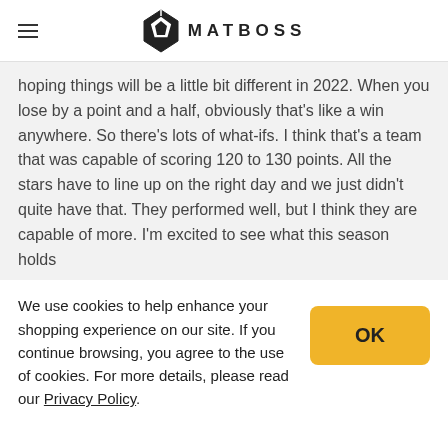[Figure (logo): MATBOSS logo with diamond-shaped icon and brand name in uppercase letters]
hoping things will be a little bit different in 2022. When you lose by a point and a half, obviously that's like a win anywhere. So there's lots of what-ifs. I think that's a team that was capable of scoring 120 to 130 points. All the stars have to line up on the right day and we just didn't quite have that. They performed well, but I think they are capable of more. I'm excited to see what this season holds
We use cookies to help enhance your shopping experience on our site. If you continue browsing, you agree to the use of cookies. For more details, please read our Privacy Policy.